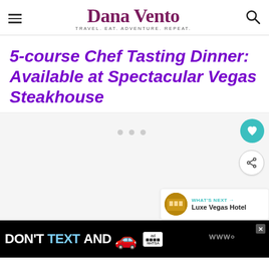Dana Vento — TRAVEL. EAT. ADVENTURE. REPEAT.
5-course Chef Tasting Dinner: Available at Spectacular Vegas Steakhouse
[Figure (screenshot): Article image area with three dots indicating image carousel, favorite heart button (teal), share button, and 'What's Next' card showing Luxe Vegas Hotel]
[Figure (infographic): DON'T TEXT AND [car emoji] advertisement banner with NHTSA badge and close button]